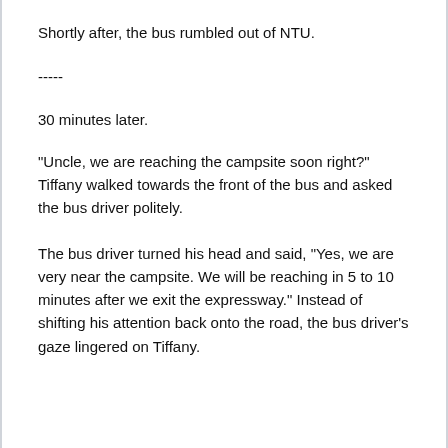Shortly after, the bus rumbled out of NTU.
-----
30 minutes later.
“Uncle, we are reaching the campsite soon right?” Tiffany walked towards the front of the bus and asked the bus driver politely.
The bus driver turned his head and said, “Yes, we are very near the campsite. We will be reaching in 5 to 10 minutes after we exit the expressway.” Instead of shifting his attention back onto the road, the bus driver’s gaze lingered on Tiffany.